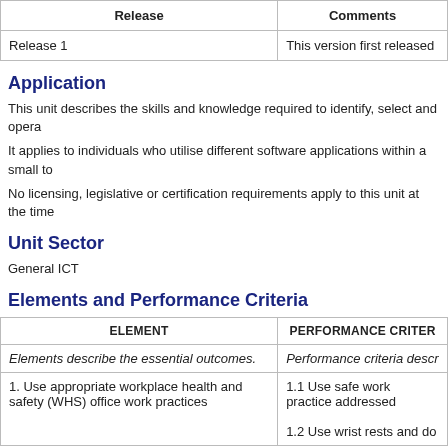| Release | Comments |
| --- | --- |
| Release 1 | This version first released |
Application
This unit describes the skills and knowledge required to identify, select and opera
It applies to individuals who utilise different software applications within a small to
No licensing, legislative or certification requirements apply to this unit at the time
Unit Sector
General ICT
Elements and Performance Criteria
| ELEMENT | PERFORMANCE CRITER |
| --- | --- |
| Elements describe the essential outcomes. | Performance criteria descr |
| 1. Use appropriate workplace health and safety (WHS) office work practices | 1.1 Use safe work practice addressed
1.2 Use wrist rests and do |